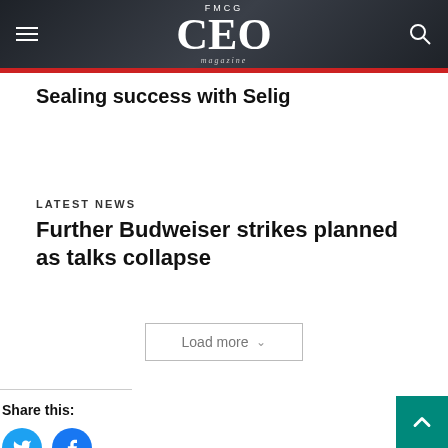FMCG CEO magazine
Sealing success with Selig
LATEST NEWS
Further Budweiser strikes planned as talks collapse
Load more
Share this: